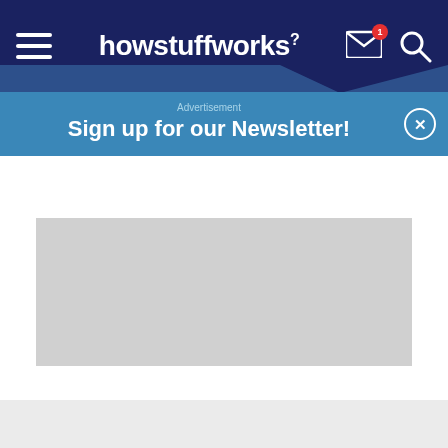howstuffworks
Advertisement
Sign up for our Newsletter!
[Figure (other): Gray advertisement placeholder rectangle]